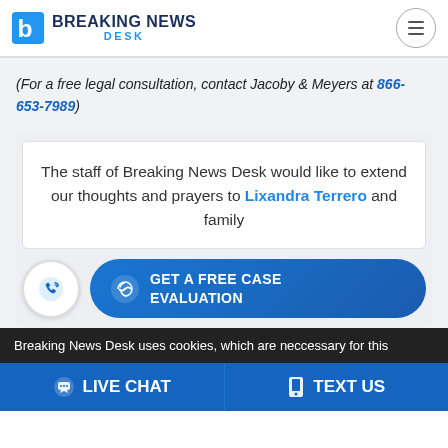[Figure (logo): Breaking News Desk logo with blue B icon and text]
(For a free legal consultation, contact Jacoby & Meyers at 866-653-7989)
The staff of Breaking News Desk would like to extend our thoughts and prayers to Lixandra Terrero and family
[Figure (infographic): GET A FREE CASE EVALUATION button with handshake icon, and phone circle icon]
Breaking News Desk uses cookies, which are neccessary for this
LIVE CHAT  TEXT US